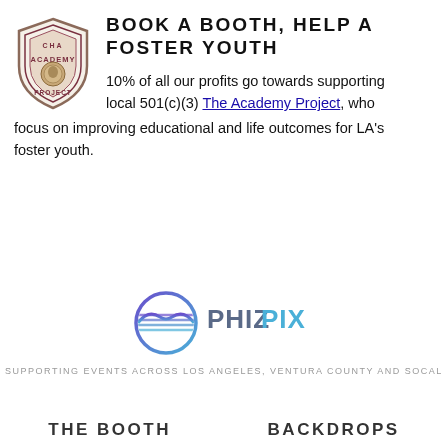[Figure (logo): The Academy Project shield logo with text]
BOOK A BOOTH, HELP A FOSTER YOUTH
10% of all our profits go towards supporting local 501(c)(3) The Academy Project, who focus on improving educational and life outcomes for LA's foster youth.
[Figure (logo): PhizPix company logo with circular sunglasses icon and text PHIZPIX]
SUPPORTING EVENTS ACROSS LOS ANGELES, VENTURA COUNTY AND SOCAL
THE BOOTH
BACKDROPS